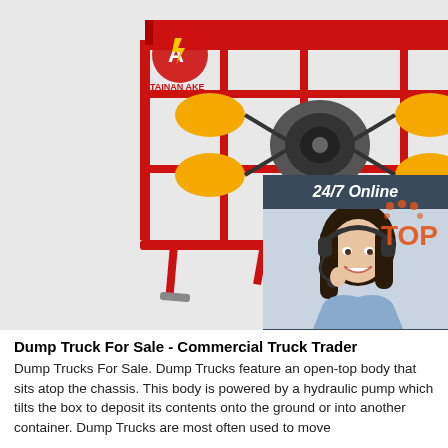[Figure (photo): Red agricultural/mechanical machine equipment on white background with a company logo (TAINAN AKE) in the top left corner, and a 24/7 customer service chat widget on the right side showing a woman with a headset, '24/7 Online' header, 'Click here for free chat!' text, and an orange QUOTATION button.]
Dump Truck For Sale - Commercial Truck Trader
Dump Trucks For Sale. Dump Trucks feature an open-top body that sits atop the chassis. This body is powered by a hydraulic pump which tilts the box to deposit its contents onto the ground or into another container. Dump Trucks are most often used to move